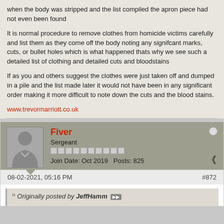when the body was stripped and the list compiled the apron piece had not even been found
It is normal procedure to remove clothes from homicide victims carefully and list them as they come off the body noting any signifcant marks, cuts, or bullet holes which is what happened thats why we see such a detailed list of clothing and detailed cuts and bloodstains
If as you and others suggest the clothes were just taken off and dumped in a pile and the list made later it would not have been in any significant order making it more difficult to note down the cuts and the blood stains.
www.trevormarriott.co.uk
Fiver
Sergeant
Join Date: Oct 2019  Posts: 825
08-02-2021, 05:16 PM
#872
Originally posted by JeffHamm